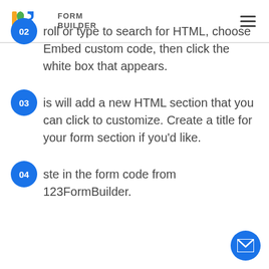123 FORM BUILDER
02 roll or type to search for HTML, choose Embed custom code, then click the white box that appears.
03 is will add a new HTML section that you can click to customize. Create a title for your form section if you'd like.
04 ste in the form code from 123FormBuilder.